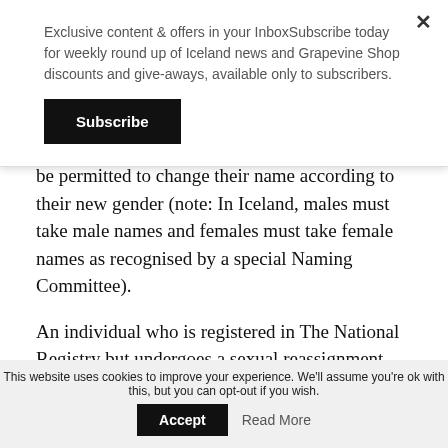Exclusive content & offers in your InboxSubscribe today for weekly round up of Iceland news and Grapevine Shop discounts and give-aways, available only to subscribers.
Subscribe
be permitted to change their name according to their new gender (note: In Iceland, males must take male names and females must take female names as recognised by a special Naming Committee).
An individual who is registered in The National Registry but undergoes a sexual reassignment surgery (SRS) while living abroad can request that the National Registry change their name in their database. The National
This website uses cookies to improve your experience. We'll assume you're ok with this, but you can opt-out if you wish.
Accept
Read More